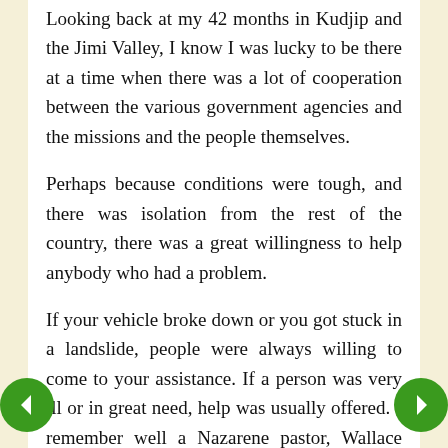Looking back at my 42 months in Kudjip and the Jimi Valley, I know I was lucky to be there at a time when there was a lot of cooperation between the various government agencies and the missions and the people themselves.
Perhaps because conditions were tough, and there was isolation from the rest of the country, there was a great willingness to help anybody who had a problem.
If your vehicle broke down or you got stuck in a landslide, people were always willing to come to your assistance. If a person was very ill or in great need, help was usually offered. I remember well a Nazarene pastor, Wallace White, who, on his way from Kudjip to the Nazarene mission at Tonga, came a fall...